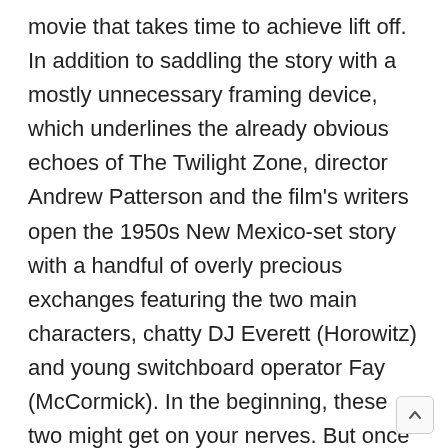movie that takes time to achieve lift off. In addition to saddling the story with a mostly unnecessary framing device, which underlines the already obvious echoes of The Twilight Zone, director Andrew Patterson and the film's writers open the 1950s New Mexico-set story with a handful of overly precious exchanges featuring the two main characters, chatty DJ Everett (Horowitz) and young switchboard operator Fay (McCormick). In the beginning, these two might get on your nerves. But once the movie locks them in place, tampering down the acrobatic camerawork and letting the sound design take control, the material finds a more natural rhythm, drawing on the hushed intimacy of old-fashioned radio drama. Like many of the best UFO yarns, The Vast of Night taps into